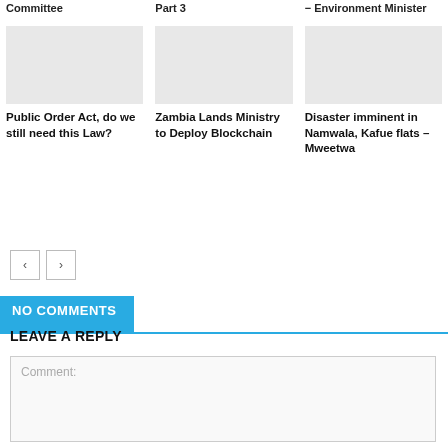Committee
Part 3
− Environment Minister
Public Order Act, do we still need this Law?
Zambia Lands Ministry to Deploy Blockchain
Disaster imminent in Namwala, Kafue flats – Mweetwa
NO COMMENTS
LEAVE A REPLY
Comment: